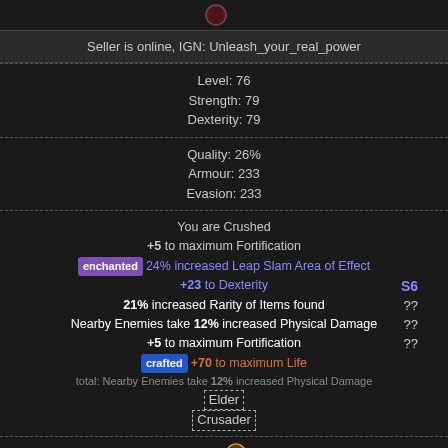[Figure (illustration): Game item icon at top (partially visible, ring/gem icon)]
Seller is online, IGN: Unleash_your_real_power
Level: 76
Strength: 79
Dexterity: 79
Quality: 26%
Armour: 233
Evasion: 233
You are Crushed
+5 to maximum Fortification
[enchanted] 24% increased Leap Slam Area of Effect
+23 to Dexterity   S6
21% increased Rarity of Items found   ??
Nearby Enemies take 12% increased Physical Damage   ??
+5 to maximum Fortification   ??
[crafted] +70 to maximum Life
total: Nearby Enemies take 12% increased Physical Damage
Elder
Crusader
30×
Profile - Whisper